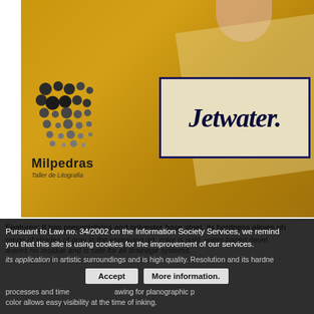[Figure (photo): Close-up photo of a golden/amber colored lithography plate being peeled back by a hand, showing a Milpedras Taller de Litografia logo (dark dot pattern forming letter M) and a card/label reading 'Jetwater.' in dark italic text on a beige background with dark blue border.]
Features: It has presentations and polyester base steel, its hardness allows ph... range of shades of gray in the engraving art, color is gold, water-based devel... leaves no residue and is safe for all drainage systems. its application in artistic surroundings and is high quality. Resolution and its hardne processes and time ... awing for planographic p... color allows easy visibility at the time of inking.
Pursuant to Law no. 34/2002 on the Information Society Services, we remind you that this site is using cookies for the improvement of our services.